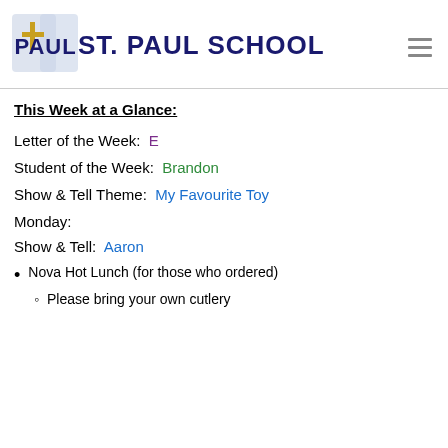[Figure (logo): St. Paul School logo with cross and shield icon, school name in dark navy bold text]
This Week at a Glance:
Letter of the Week: E
Student of the Week: Brandon
Show & Tell Theme: My Favourite Toy
Monday:
Show & Tell: Aaron
Nova Hot Lunch (for those who ordered)
Please bring your own cutlery